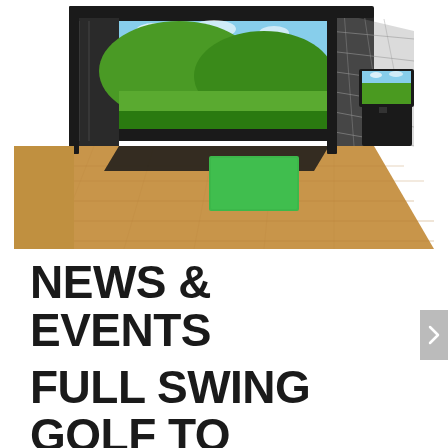[Figure (illustration): Indoor golf simulator setup showing a large projection screen displaying a green golf course, a hitting mat, impact screen/net, and a monitor on a black pedestal stand, all placed on a wood-grain floor.]
NEWS & EVENTS
FULL SWING GOLF TO